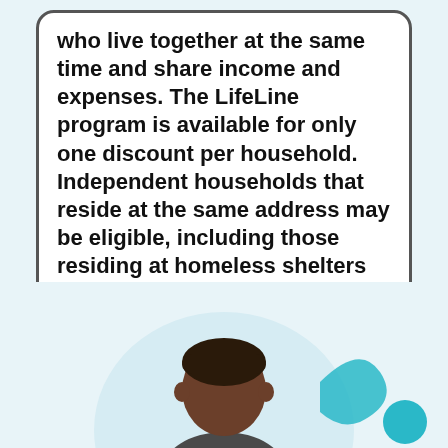who live together at the same time and share income and expenses. The LifeLine program is available for only one discount per household. Independent households that reside at the same address may be eligible, including those residing at homeless shelters or nursing homes. Residents with temporary addresses are also eligible.
[Figure (illustration): Illustrated person (dark skin, shown from shoulders up) inside a light circular background, with a teal decorative swoosh element and teal circle to the right, on a light blue background.]